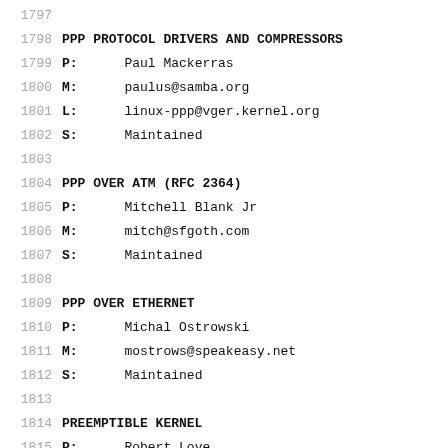1797
1798  PPP PROTOCOL DRIVERS AND COMPRESSORS
1799  P:      Paul Mackerras
1800  M:      paulus@samba.org
1801  L:      linux-ppp@vger.kernel.org
1802  S:      Maintained
1803
1804  PPP OVER ATM (RFC 2364)
1805  P:      Mitchell Blank Jr
1806  M:      mitch@sfgoth.com
1807  S:      Maintained
1808
1809  PPP OVER ETHERNET
1810  P:      Michal Ostrowski
1811  M:      mostrows@speakeasy.net
1812  S:      Maintained
1813
1814  PREEMPTIBLE KERNEL
1815  P:      Robert Love
1816  M:      rml@tech9.net
1817  L:      linux-kernel@vger.kernel.org
1818  L:      kpreempt-tech@lists.sourceforge.net